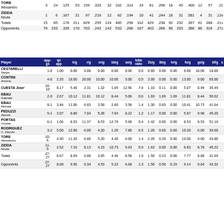| Player |  |  |  |  |  |  |  |  |  |  |  |  |  |  |  |  |  |  |
| --- | --- | --- | --- | --- | --- | --- | --- | --- | --- | --- | --- | --- | --- | --- | --- | --- | --- | --- |
| TORE Alessandro | 3 | 24 | .125 | 53 | 159 | .333 | 32 | 102 | .314 | 24 | 81 | .296 | 18 | 45 | .400 | 12 | 57 | .21 |
| ZIDDA Nicola | 1 | 6 | .167 | 21 | 97 | .216 | 12 | 62 | .194 | 10 | 41 | .244 | 18 | 31 | .581 | 4 | 31 | .12 |
| Totals | 15 | 85 | .176 | 211 | 829 | .255 | 124 | 485 | .256 | 102 | 429 | .238 | 92 | 232 | .397 | 61 | 288 | .212 |
| Opponents | 79 | 233 | .339 | 170 | 703 | .242 | 142 | 533 | .266 | 107 | 403 | .266 | 90 | 233 | .386 | 86 | 316 | .272 |
| Player | app-gs | ip/app | h/g | r/g | er/g | bb/g | so/g | k/bb ratio | 2b/g | 3b/g | hr/g | fo/g | go/g | bf/g | s |
| --- | --- | --- | --- | --- | --- | --- | --- | --- | --- | --- | --- | --- | --- | --- | --- |
| CESTARELLI Sergio | 1-0 | 1.00 | 0.00 | 0.00 | 0.00 | 0.00 | 0.00 | 0.0 | 0.00 | 0.00 | 0.00 | 0.00 | 18.00 | 18.00 |  |
| CONTINI Antonio | 4-0 | 2.25 | 18.00 | 20.00 | 10.00 | 10.00 | 5.00 | 0.5 | 3.00 | 0.00 | 0.00 | 13.00 | 9.00 | 65.00 |  |
| CUESTA Jose' | 10-10 | 8.17 | 5.40 | 2.31 | 1.32 | 1.65 | 12.56 | 7.6 | 1.10 | 0.11 | 0.00 | 5.07 | 8.49 | 35.49 |  |
| EBAU Gabriele | 2-0 | 2.67 | 10.12 | 11.81 | 10.12 | 8.44 | 5.06 | 0.6 | 1.69 | 1.69 | 1.69 | 11.81 | 8.44 | 50.62 |  |
| EBAU Michele | 8-1 | 3.46 | 11.06 | 6.83 | 3.58 | 2.60 | 3.58 | 1.4 | 1.30 | 0.65 | 0.00 | 10.41 | 10.73 | 41.64 |  |
| PEDUZZI Alessio | 5-1 | 3.07 | 8.80 | 7.04 | 5.28 | 7.04 | 8.22 | 1.2 | 1.17 | 0.00 | 0.00 | 5.87 | 9.98 | 45.20 |  |
| PORTAS Cristian | 6-1 | 1.06 | 8.53 | 11.37 | 8.53 | 12.79 | 5.68 | 0.4 | 1.42 | 0.00 | 0.00 | 8.53 | 8.53 | 51.16 |  |
| RODRIGUEZ C. Kleyver | 3-2 | 5.00 | 12.00 | 6.00 | 4.20 | 1.20 | 7.80 | 6.5 | 1.20 | 0.60 | 0.60 | 10.20 | 6.00 | 39.60 |  |
| TORE Alessandro | 10-6 | 4.50 | 11.20 | 6.80 | 5.20 | 4.40 | 6.00 | 1.4 | 2.20 | 0.20 | 0.00 | 10.00 | 9.00 | 43.80 |  |
| ZIDDA Nicola | 11-6 | 2.52 | 7.16 | 8.13 | 4.23 | 10.73 | 9.43 | 0.9 | 1.63 | 0.00 | 0.00 | 6.83 | 8.78 | 45.22 |  |
| Totals | 27-27 | 8.67 | 8.69 | 6.08 | 3.85 | 4.46 | 8.58 | 1.9 | 1.50 | 0.23 | 0.08 | 7.77 | 8.88 | 41.69 |  |
| Opponents | 27-27 | 8.68 | 9.56 | 6.34 | 4.53 | 5.22 | 6.68 | 1.3 | 1.50 | 0.50 | 0.19 | 9.14 | 9.64 | 43.32 |  |